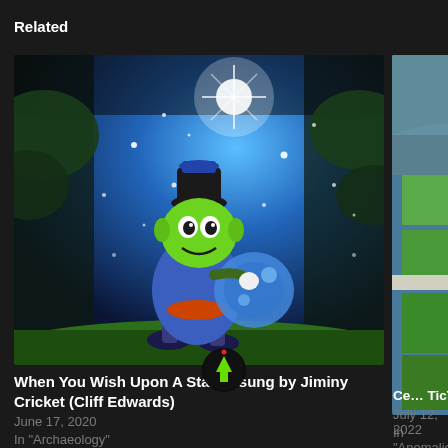Related
[Figure (illustration): Jiminy Cricket cartoon character against a starry blue night sky with sparkles and trees]
When You Wish Upon A Star — sung by Jiminy Cricket (Cliff Edwards)
June 17, 2020
In "Archaeology"
[Figure (photo): Aerial photograph showing green fields with geometric crop patterns and coastal area]
Ce… TicTac i…
July 12, 2022
In "Anomalies"